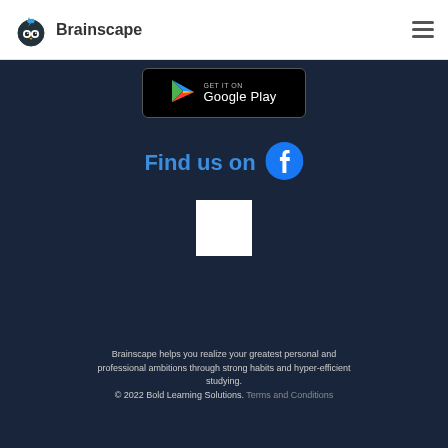Brainscape
[Figure (logo): Google Play store badge with play button triangle icon and text GET IT ON Google Play]
Find us on
[Figure (logo): Facebook logo circle icon in blue]
[Figure (other): White square QR code or image placeholder]
Brainscape helps you realize your greatest personal and professional ambitions through strong habits and hyper-efficient studying.
© 2022 Bold Learning Solutions. Terms and Conditions